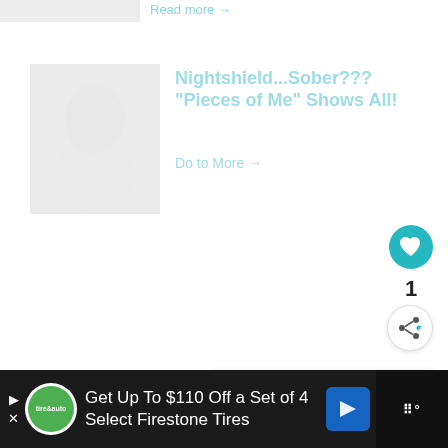[Figure (screenshot): Faded thumbnail image at top left]
Read more →
[Figure (photo): Faded article thumbnail image showing a person with wings or costume]
Nightshield...Sober??? "Pieces of Me" Shows All!
Do to More →
[Figure (infographic): Teal circular heart/like button with white heart icon]
1
[Figure (infographic): White circular share button with share icon]
[Figure (infographic): What's Next panel with thumbnail and text: Watch this Powerful...]
WHAT'S NEXT → Watch this Powerful...
[Figure (infographic): Advertisement bar: Get Up To $110 Off a Set of 4 Select Firestone Tires with Firestone auto logo and navigation icon]